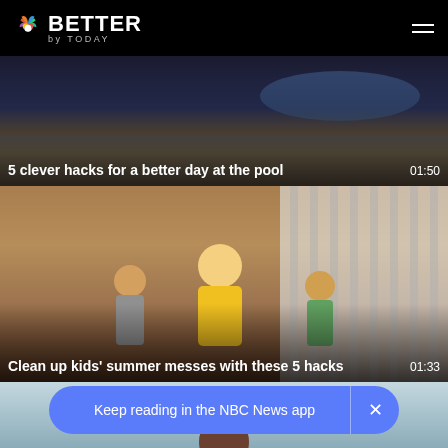NBC BETTER by TODAY
[Figure (screenshot): Video thumbnail for pool hacks article with dark/sunset background]
5 clever hacks for a better day at the pool  01:50
[Figure (photo): Woman in yellow shirt with two young boys outdoors, summer setting]
Clean up kids' summer messes with these 5 hacks  01:33
[Figure (photo): Partial third video thumbnail showing top of person's head outdoors]
Keep reading in the NBC News app